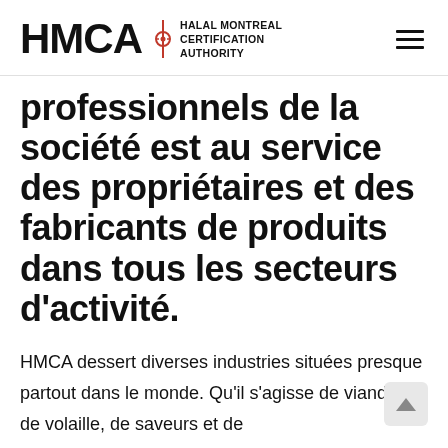[Figure (logo): HMCA Halal Montreal Certification Authority logo with red compass/star icon, bold HMCA text, and subtitle text. Menu hamburger icon on the right.]
professionnels de la société est au service des propriétaires et des fabricants de produits dans tous les secteurs d'activité.
HMCA dessert diverses industries situées presque partout dans le monde. Qu'il s'agisse de viande et de volaille, de saveurs et de